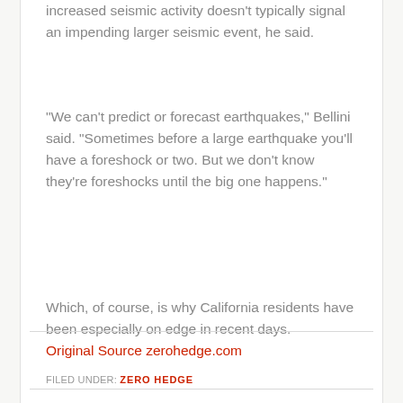increased seismic activity doesn't typically signal an impending larger seismic event, he said.
“We can’t predict or forecast earthquakes,” Bellini said. “Sometimes before a large earthquake you’ll have a foreshock or two. But we don’t know they’re foreshocks until the big one happens.”
Which, of course, is why California residents have been especially on edge in recent days.
Original Source zerohedge.com
FILED UNDER: ZERO HEDGE